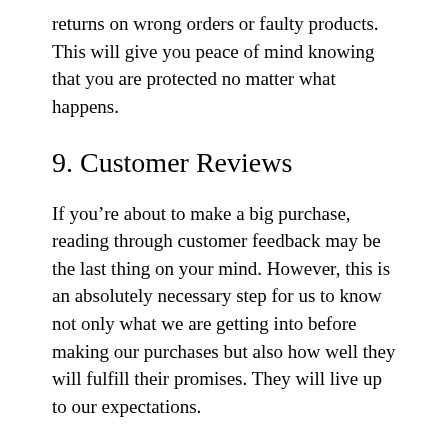returns on wrong orders or faulty products. This will give you peace of mind knowing that you are protected no matter what happens.
9. Customer Reviews
If you’re about to make a big purchase, reading through customer feedback may be the last thing on your mind. However, this is an absolutely necessary step for us to know not only what we are getting into before making our purchases but also how well they will fulfill their promises. They will live up to our expectations.
About Us